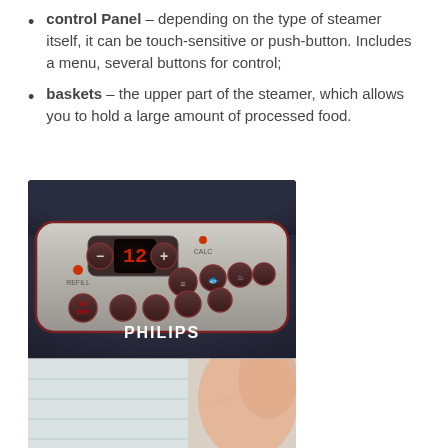control Panel – depending on the type of steamer itself, it can be touch-sensitive or push-button. Includes a menu, several buttons for control;
baskets – the upper part of the steamer, which allows you to hold a large amount of processed food.
[Figure (photo): Close-up photo of a Philips steamer control panel showing a digital display reading '12', minus and plus buttons, several food preset buttons, REFILL and CALC indicators, and the Philips logo on a brushed metal surface.]
[Figure (photo): Partial photo of a steamer basket or container with a white/clear body, partially visible with a person's hand or arm.]